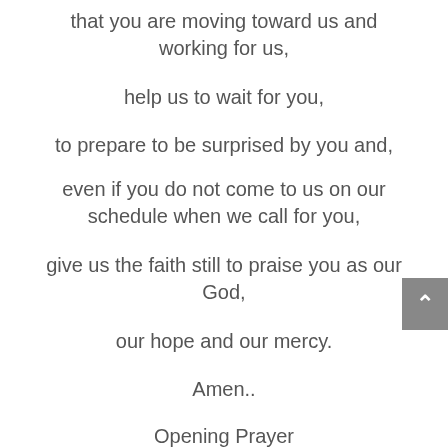that you are moving toward us and working for us,
help us to wait for you,
to prepare to be surprised by you and,
even if you do not come to us on our schedule when we call for you,
give us the faith still to praise you as our God,
our hope and our mercy.
Amen..
Opening Prayer